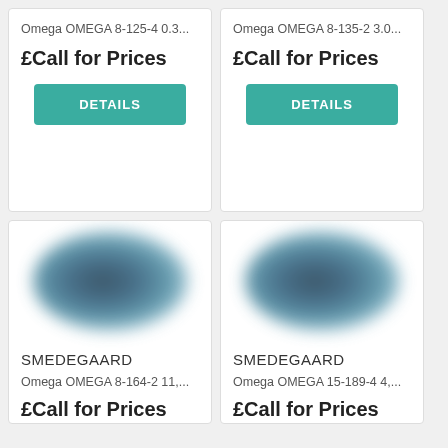Omega OMEGA 8-125-4 0.3...
£Call for Prices
DETAILS
Omega OMEGA 8-135-2 3.0...
£Call for Prices
DETAILS
[Figure (photo): Blurred product image, dark blue oval shape]
SMEDEGAARD
Omega OMEGA 8-164-2 11,...
£Call for Prices
[Figure (photo): Blurred product image, dark blue oval shape]
SMEDEGAARD
Omega OMEGA 15-189-4 4,...
£Call for Prices